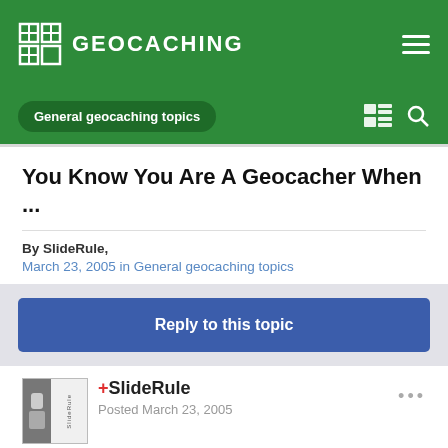GEOCACHING
General geocaching topics
You Know You Are A Geocacher When ...
By SlideRule,
March 23, 2005 in General geocaching topics
Reply to this topic
+SlideRule
Posted March 23, 2005
What strange things do you do because you like to GeoCache? -or-
You know you are a GeoCacher when: